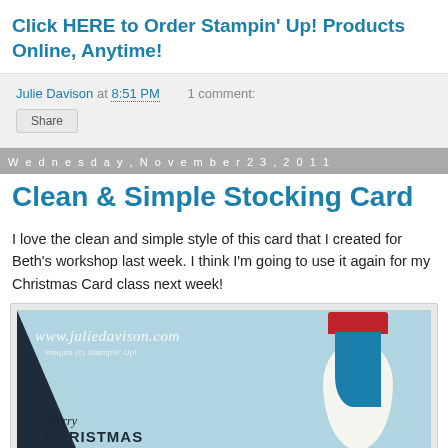Click HERE to Order Stampin' Up! Products Online, Anytime!
Julie Davison at 8:51 PM   1 comment:
Share
Wednesday, November 23, 2011
Clean & Simple Stocking Card
I love the clean and simple style of this card that I created for Beth's workshop last week. I think I'm going to use it again for my Christmas Card class next week!
[Figure (photo): A handmade Christmas stocking card in teal/blue with a white oval, red cuff stocking decoration, and Merry Christmas text. Watermark reads www.juliedavison.com, images (c) Stampin' Up!]